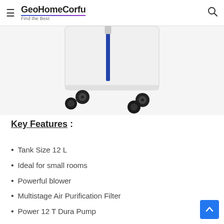GeoHomeCorfu — Find the Best
[Figure (photo): Bottom portion of a white air cooler appliance with black caster wheels on a light gray background]
Key Features :
Tank Size 12 L
Ideal for small rooms
Powerful blower
Multistage Air Purification Filter
Power 12 T Dura Pump